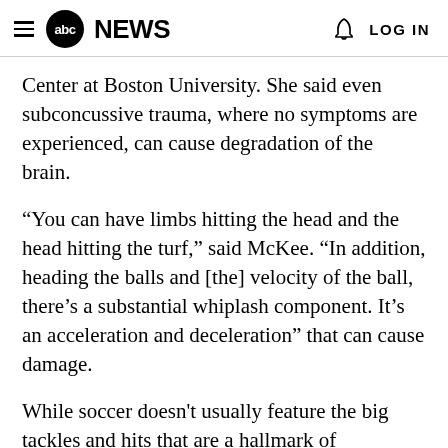abc NEWS  LOG IN
Center at Boston University. She said even subconcussive trauma, where no symptoms are experienced, can cause degradation of the brain.
“You can have limbs hitting the head and the head hitting the turf,” said McKee. “In addition, heading the balls and [the] velocity of the ball, there’s a substantial whiplash component. It’s an acceleration and deceleration” that can cause damage.
While soccer doesn't usually feature the big tackles and hits that are a hallmark of